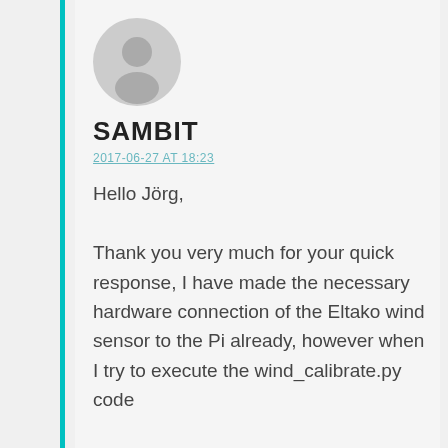[Figure (illustration): Generic user avatar icon — gray silhouette of a person (head and shoulders) in a circle]
SAMBIT
2017-06-27 AT 18:23
Hello Jörg,

Thank you very much for your quick response, I have made the necessary hardware connection of the Eltako wind sensor to the Pi already, however when I try to execute the wind_calibrate.py code